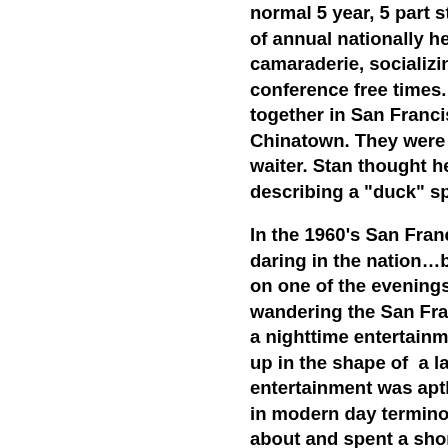normal 5 year, 5 part study of annual nationally held e camaraderie, socializing an conference free times. Li together in San Francisc Chinatown. They were am waiter. Stan thought he w describing a "duck" special
In the 1960's San Francisc daring in the nation…by to on one of the evenings, th wandering the San Francisc a nighttime entertainment e up in the shape of a ladie entertainment was aptly na in modern day terminology about and spent a short ti was considered very “risq excitement for the curren impression was that the me who probably were trying